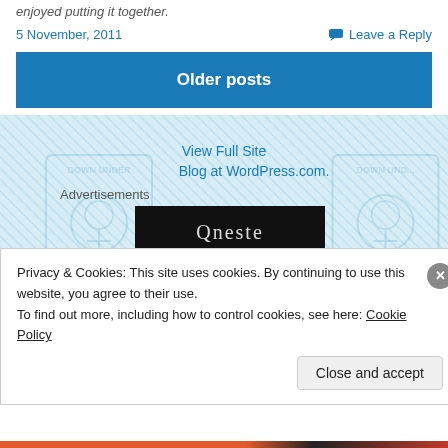enjoyed putting it together.
5 November, 2011
Leave a Reply
Older posts
View Full Site
Blog at WordPress.com.
Advertisements
[Figure (logo): Down Under Feminists Carnival logo watermark, left side]
[Figure (logo): Down Under Feminists Carnival logo watermark, right side (partially visible)]
[Figure (screenshot): Dark advertisement banner with partial text visible]
Privacy & Cookies: This site uses cookies. By continuing to use this website, you agree to their use.
To find out more, including how to control cookies, see here: Cookie Policy
Close and accept